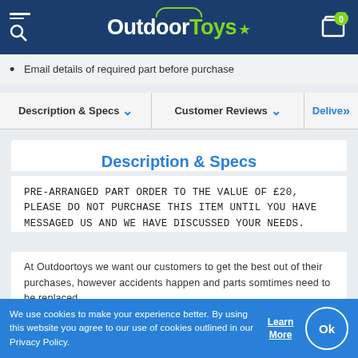[Figure (logo): OutdoorToys website header with logo, search/menu icon, and shopping cart showing 0 items]
Email details of required part before purchase
Description & Specs ∨    Customer Reviews ∨    Delive ≫
Description & Specs
PRE-ARRANGED PART ORDER TO THE VALUE OF £20, PLEASE DO NOT PURCHASE THIS ITEM UNTIL YOU HAVE MESSAGED US AND WE HAVE DISCUSSED YOUR NEEDS.
At Outdoortoys we want our customers to get the best out of their purchases, however accidents happen and parts somtimes need to be replaced.
We use cookies to make your experience better. By using this website you agree to our use of cookies outlined in our Privacy Policy.